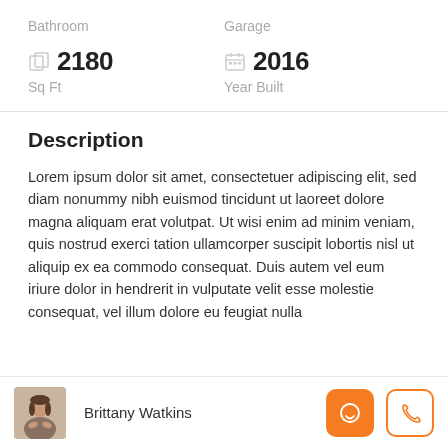Bathroom
Garage
2180
Sq Ft
2016
Year Built
Description
Lorem ipsum dolor sit amet, consectetuer adipiscing elit, sed diam nonummy nibh euismod tincidunt ut laoreet dolore magna aliquam erat volutpat. Ut wisi enim ad minim veniam, quis nostrud exerci tation ullamcorper suscipit lobortis nisl ut aliquip ex ea commodo consequat. Duis autem vel eum iriure dolor in hendrerit in vulputate velit esse molestie consequat, vel illum dolore eu feugiat nulla
Brittany Watkins